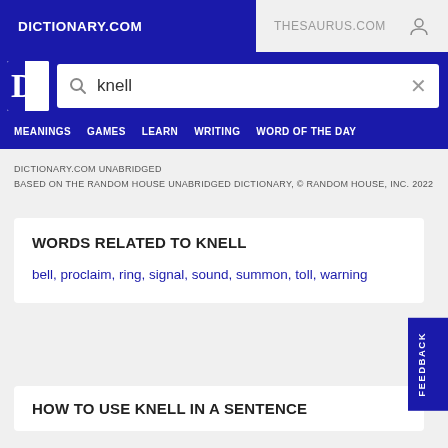DICTIONARY.COM    THESAURUS.COM
[Figure (screenshot): Dictionary.com logo with search bar showing 'knell']
DICTIONARY.COM UNABRIDGED
BASED ON THE RANDOM HOUSE UNABRIDGED DICTIONARY, © RANDOM HOUSE, INC. 2022
WORDS RELATED TO KNELL
bell, proclaim, ring, signal, sound, summon, toll, warning
HOW TO USE KNELL IN A SENTENCE